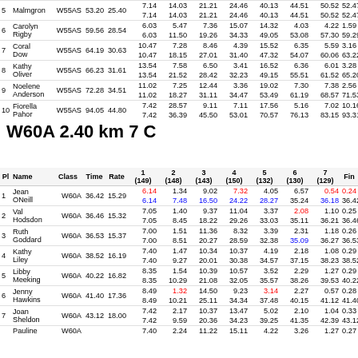| Pl | Name | Class | Time | Rate | 1(149) | 2(148) | 3(143) | 4(150) | 5(132) | 6(130) | 7(129) | Fin |
| --- | --- | --- | --- | --- | --- | --- | --- | --- | --- | --- | --- | --- |
| 5 | Malmgron | W55AS | 53.20 | 25.40 | 7.14
7.14 | 14.03
14.03 | 21.21
21.21 | 24.46
24.46 | 40.13
40.13 | 44.51
44.51 | 50.52
50.52 | 52.47
52.47 | 53 |
| 6 | Carolyn Rigby | W55AS | 59.56 | 28.54 | 6.03
6.03 | 5.47
11.50 | 7.36
19.26 | 15.07
34.33 | 14.32
49.05 | 4.03
53.08 | 4.22
57.30 | 1.59
59.29 | 59 |
| 7 | Coral Dow | W55AS | 64.19 | 30.63 | 10.47
10.47 | 7.28
18.15 | 8.46
27.01 | 4.39
31.40 | 15.52
47.32 | 6.35
54.07 | 5.59
60.06 | 3.16
63.22 | 64 |
| 8 | Kathy Oliver | W55AS | 66.23 | 31.61 | 13.54
13.54 | 7.58
21.52 | 6.50
28.42 | 3.41
32.23 | 16.52
49.15 | 6.36
55.51 | 6.01
61.52 | 3.28
65.20 | 66 |
| 9 | Noelene Anderson | W55AS | 72.28 | 34.51 | 11.02
11.02 | 7.25
18.27 | 12.44
31.11 | 3.36
34.47 | 19.02
53.49 | 7.30
61.19 | 7.38
68.57 | 2.56
71.53 | 72 |
| 10 | Fiorella Pahor | W55AS | 94.05 | 44.80 | 7.42
7.42 | 28.57
36.39 | 9.11
45.50 | 7.11
53.01 | 17.56
70.57 | 5.16
76.13 | 7.02
83.15 | 10.16
93.31 | 94 |
W60A 2.40 km 7 C
| Pl | Name | Class | Time | Rate | 1(149) | 2(148) | 3(143) | 4(150) | 5(132) | 6(130) | 7(129) | Fin |
| --- | --- | --- | --- | --- | --- | --- | --- | --- | --- | --- | --- | --- |
| 1 | Jean ONeill | W60A | 36.42 | 15.29 | 6.14
6.14 | 1.34
7.48 | 9.02
16.50 | 7.32
24.22 | 4.05
28.27 | 6.57
35.24 | 0.54
36.18 | 0.24
36.42 |
| 2 | Val Hodsdon | W60A | 36.46 | 15.32 | 7.05
7.05 | 1.40
8.45 | 9.37
18.22 | 11.04
29.26 | 3.37
33.03 | 2.08
35.11 | 1.10
36.21 | 0.25
36.46 |
| 3 | Ruth Goddard | W60A | 36.53 | 15.37 | 7.00
7.00 | 1.51
8.51 | 11.36
20.27 | 8.32
28.59 | 3.39
32.38 | 2.31
35.09 | 1.18
36.27 | 0.26
36.53 |
| 4 | Kathy Liley | W60A | 38.52 | 16.19 | 7.40
7.40 | 1.47
9.27 | 10.34
20.01 | 10.37
30.38 | 4.19
34.57 | 2.18
37.15 | 1.08
38.23 | 0.29
38.52 |
| 5 | Libby Meeking | W60A | 40.22 | 16.82 | 8.35
8.35 | 1.54
10.29 | 10.39
21.08 | 10.57
32.05 | 3.52
35.57 | 2.29
38.26 | 1.27
39.53 | 0.29
40.22 |
| 6 | Jenny Hawkins | W60A | 41.40 | 17.36 | 8.49
8.49 | 1.32
10.21 | 14.50
25.11 | 9.23
34.34 | 3.14
37.48 | 2.27
40.15 | 0.57
41.12 | 0.28
41.40 |
| 7 | Joan Sheldon | W60A | 43.12 | 18.00 | 7.42
7.42 | 2.17
9.59 | 10.37
20.36 | 13.47
34.23 | 5.02
39.25 | 2.10
41.35 | 1.04
42.39 | 0.33
43.12 |
| 8 | Pauline | W60A |  |  | 7.40 | 2.24 | 11.22 | 15.11 | 4.22 | 3.26 | 1.27 | 0.27 |